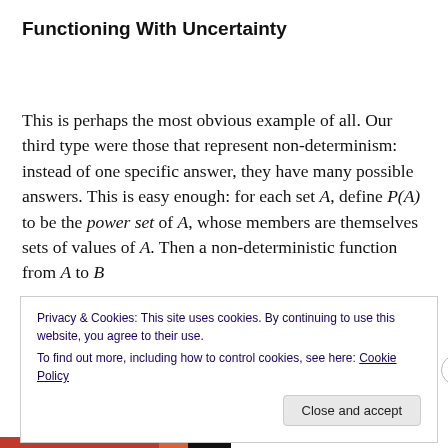Functioning With Uncertainty
This is perhaps the most obvious example of all. Our third type were those that represent non-determinism: instead of one specific answer, they have many possible answers. This is easy enough: for each set A, define P(A) to be the power set of A, whose members are themselves sets of values of A. Then a non-deterministic function from A to B
Privacy & Cookies: This site uses cookies. By continuing to use this website, you agree to their use.
To find out more, including how to control cookies, see here: Cookie Policy
Close and accept